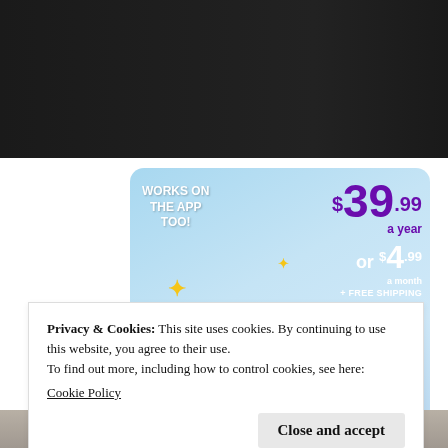[Figure (photo): Dark background photo at top of page]
[Figure (illustration): Tumblr advertisement banner with light blue sky background. Shows 'WORKS ON THE APP TOO!' text, Tumblr logo T, price $39.99 a year or $4.99 a month + FREE SHIPPING]
Privacy & Cookies: This site uses cookies. By continuing to use this website, you agree to their use.
To find out more, including how to control cookies, see here:
Cookie Policy
Close and accept
[Figure (photo): Partial photo at bottom of page]